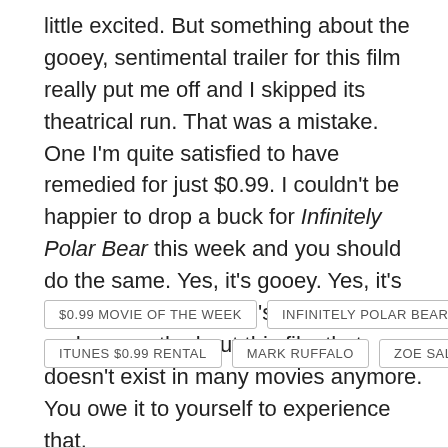little excited. But something about the gooey, sentimental trailer for this film really put me off and I skipped its theatrical run. That was a mistake. One I'm quite satisfied to have remedied for just $0.99. I couldn't be happier to drop a buck for Infinitely Polar Bear this week and you should do the same. Yes, it's gooey. Yes, it's sentimental. But there's an honesty and a warmth about this film that doesn't exist in many movies anymore. You owe it to yourself to experience that.
$0.99 MOVIE OF THE WEEK
INFINITELY POLAR BEAR
ITUNES $0.99 RENTAL
MARK RUFFALO
ZOE SALDANA